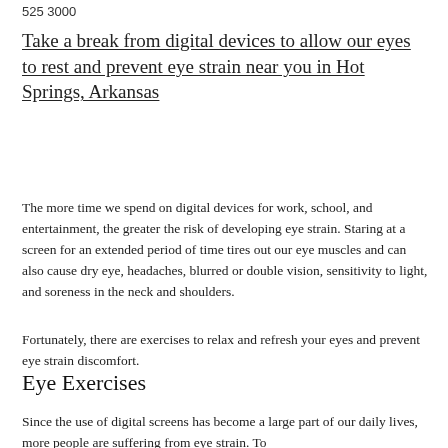525 3000
Take a break from digital devices to allow our eyes to rest and prevent eye strain near you in Hot Springs, Arkansas
The more time we spend on digital devices for work, school, and entertainment, the greater the risk of developing eye strain. Staring at a screen for an extended period of time tires out our eye muscles and can also cause dry eye, headaches, blurred or double vision, sensitivity to light, and soreness in the neck and shoulders.
Fortunately, there are exercises to relax and refresh your eyes and prevent eye strain discomfort.
Eye Exercises
Since the use of digital screens has become a large part of our daily lives, more people are suffering from eye strain. To